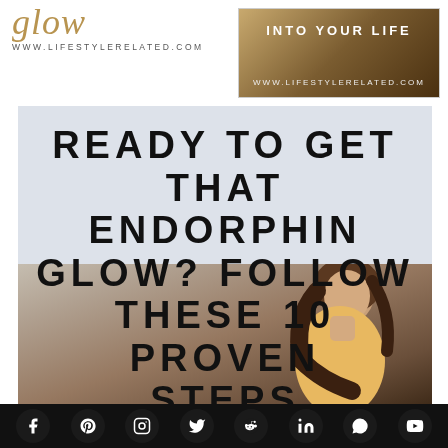[Figure (logo): Glow lifestyle blog logo with italic gold script 'glow' text and URL www.lifestylerelated.com]
[Figure (illustration): Banner image with text 'INTO YOUR LIFE' and 'www.lifestylerelated.com' on a warm golden-brown background]
READY TO GET THAT ENDORPHIN GLOW? FOLLOW THESE 10 PROVEN STEPS
[Figure (photo): Woman laughing with head tilted back, photographed outdoors at a beach, lower portion of the main image block]
Social media icons: Facebook, Pinterest, Instagram, Twitter, Reddit, LinkedIn, WhatsApp, YouTube